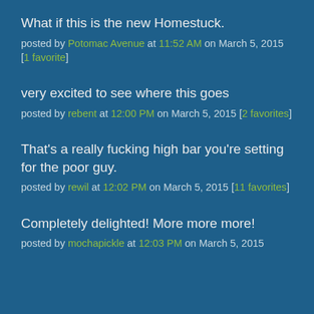What if this is the new Homestuck.
posted by Potomac Avenue at 11:52 AM on March 5, 2015 [1 favorite]
very excited to see where this goes
posted by rebent at 12:00 PM on March 5, 2015 [2 favorites]
That's a really fucking high bar you're setting for the poor guy.
posted by rewil at 12:02 PM on March 5, 2015 [11 favorites]
Completely delighted! More more more!
posted by mochapickle at 12:03 PM on March 5, 2015